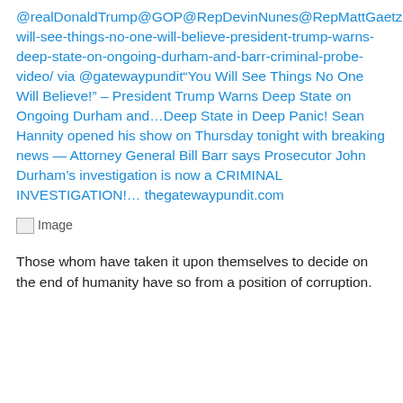@realDonaldTrump@GOP@RepDevinNunes@RepMattGaetz@Jim_Jordan@RepRatcliffehttps://thegatewaypundit.com/2019/10/you-will-see-things-no-one-will-believe-president-trump-warns-deep-state-on-ongoing-durham-and-barr-criminal-probe-video/ via @gatewaypundit“You Will See Things No One Will Believe!” – President Trump Warns Deep State on Ongoing Durham and…Deep State in Deep Panic! Sean Hannity opened his show on Thursday tonight with breaking news — Attorney General Bill Barr says Prosecutor John Durham’s investigation is now a CRIMINAL INVESTIGATION!… thegatewaypundit.com
[Figure (photo): Broken image placeholder labeled 'Image']
Those whom have taken it upon themselves to decide on the end of humanity have so from a position of corruption.